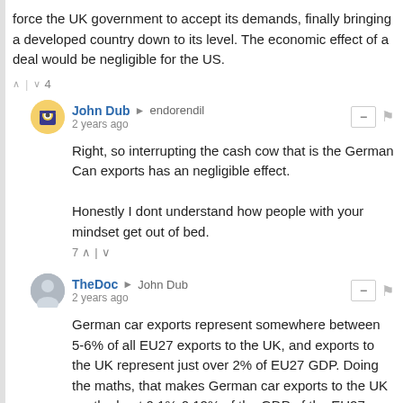force the UK government to accept its demands, finally bringing a developed country down to its level. The economic effect of a deal would be negligible for the US.
∧ | ∨ 4
John Dub → endorendil
2 years ago
Right, so interrupting the cash cow that is the German Can exports has an negligible effect.

Honestly I dont understand how people with your mindset get out of bed.
7 ∧ | ∨
TheDoc → John Dub
2 years ago
German car exports represent somewhere between 5-6% of all EU27 exports to the UK, and exports to the UK represent just over 2% of EU27 GDP. Doing the maths, that makes German car exports to the UK worth about 0.1%-0.12% of the GDP of the EU27, equivalent to no more than a few weeks of annual GDP growth.